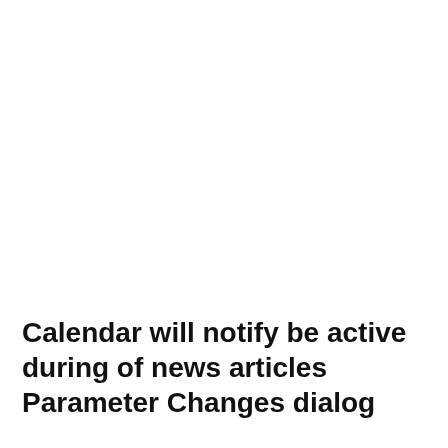Calendar will notify be active during of news articles Parameter Changes dialog